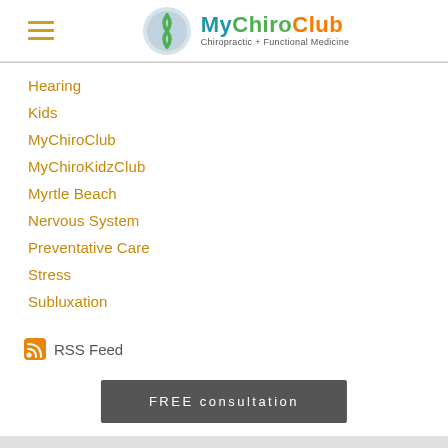MyChiroClub — Chiropractic + Functional Medicine
Hearing
Kids
MyChiroClub
MyChiroKidzClub
Myrtle Beach
Nervous System
Preventative Care
Stress
Subluxation
RSS Feed
FREE consultation